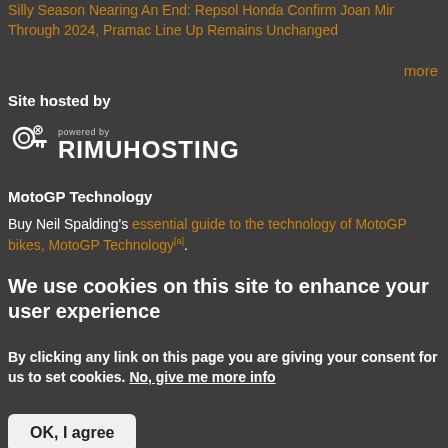Silly Season Nearing An End: Repsol Honda Confirm Joan Mir Through 2024, Pramac Line Up Remains Unchanged
more
Site hosted by
[Figure (logo): Rimuhosting logo — powered by RIMUHOSTING with decorative icon]
MotoGP Technology
Buy Neil Spalding's essential guide to the technology of MotoGP bikes, MotoGP Technology.
We use cookies on this site to enhance your user experience
By clicking any link on this page you are giving your consent for us to set cookies. No, give me more info
OK, I agree